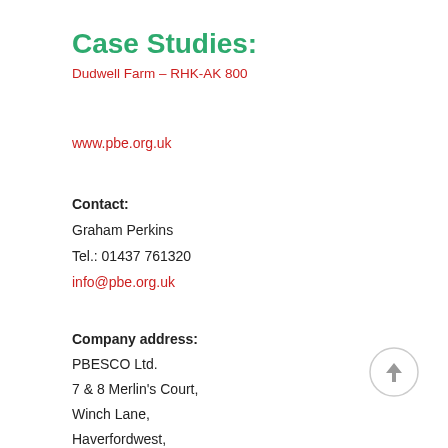Case Studies:
Dudwell Farm – RHK-AK 800
www.pbe.org.uk
Contact:
Graham Perkins
Tel.: 01437 761320
info@pbe.org.uk
Company address:
PBESCO Ltd.
7 & 8 Merlin's Court,
Winch Lane,
Haverfordwest,
Pembrokeshire,